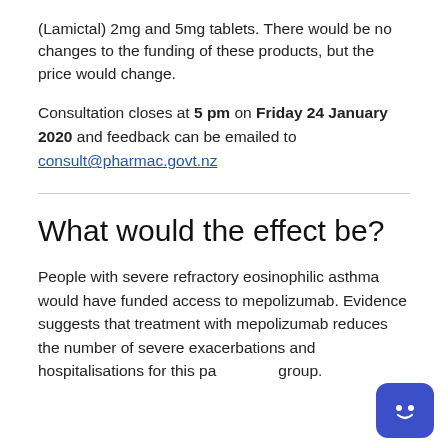(Lamictal) 2mg and 5mg tablets. There would be no changes to the funding of these products, but the price would change.
Consultation closes at 5 pm on Friday 24 January 2020 and feedback can be emailed to consult@pharmac.govt.nz
What would the effect be?
People with severe refractory eosinophilic asthma would have funded access to mepolizumab. Evidence suggests that treatment with mepolizumab reduces the number of severe exacerbations and hospitalisations for this patient group.